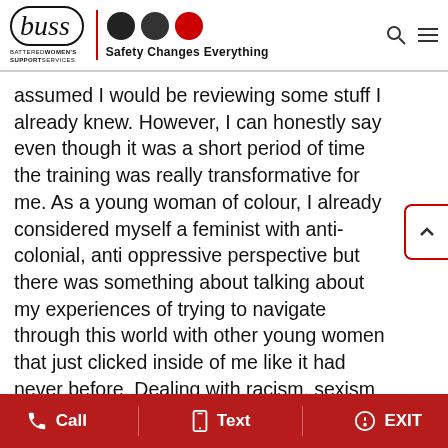buss BATTERED WOMEN'S SUPPORT SERVICES | Safety Changes Everything
assumed I would be reviewing some stuff I already knew. However, I can honestly say even though it was a short period of time the training was really transformative for me. As a young woman of colour, I already considered myself a feminist with anti-colonial, anti oppressive perspective but there was something about talking about my experiences of trying to navigate through this world with other young women that just clicked inside of me like it had never before. Dealing with racism, sexism and street harassment in my every day life were things that I often just dealt with and
Call   Text   EXIT